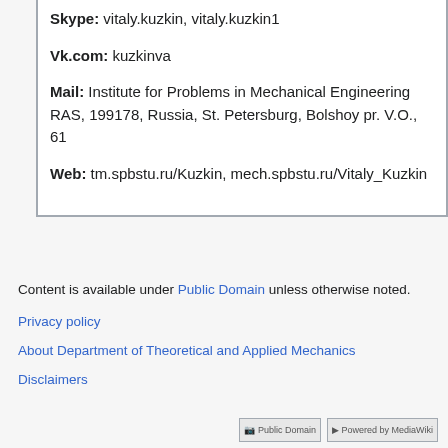Skype: vitaly.kuzkin, vitaly.kuzkin1
Vk.com: kuzkinva
Mail: Institute for Problems in Mechanical Engineering RAS, 199178, Russia, St. Petersburg, Bolshoy pr. V.O., 61
Web: tm.spbstu.ru/Kuzkin, mech.spbstu.ru/Vitaly_Kuzkin
Content is available under Public Domain unless otherwise noted.
Privacy policy
About Department of Theoretical and Applied Mechanics
Disclaimers
[Figure (logo): Public Domain and Powered by MediaWiki logos]